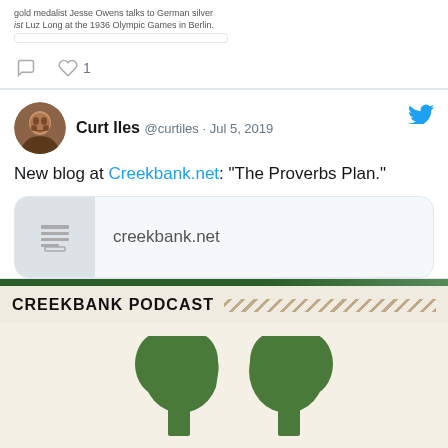[Figure (screenshot): Twitter/X tweet snippet showing small text about gold medalist Jesse Owens and Luz Long at the 1936 Olympic Games, with comment and like (1) icons below.]
[Figure (screenshot): Tweet by Curt Iles (@curtiles) dated Jul 5, 2019 reading 'New blog at Creekbank.net: "The Proverbs Plan."' with a link preview showing creekbank.net and a Twitter bird icon.]
CREEKBANK PODCAST
[Figure (logo): Creekbank Stories podcast logo: two green tree/book silhouette shapes facing each other forming an open book shape, with text 'Creekbank Stories' and 'Curt Iles' below on a light beige background.]